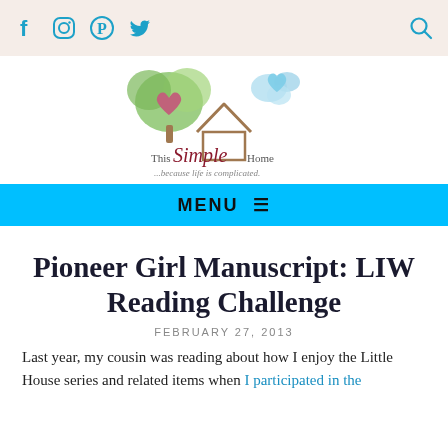Social icons: Facebook, Instagram, Pinterest, Twitter | Search icon
[Figure (logo): This Simple Home logo — illustrated tree with heart and house shape, text reads 'This Simple Home ...because life is complicated.']
MENU ≡
Pioneer Girl Manuscript: LIW Reading Challenge
FEBRUARY 27, 2013
Last year, my cousin was reading about how I enjoy the Little House series and related items when I participated in the